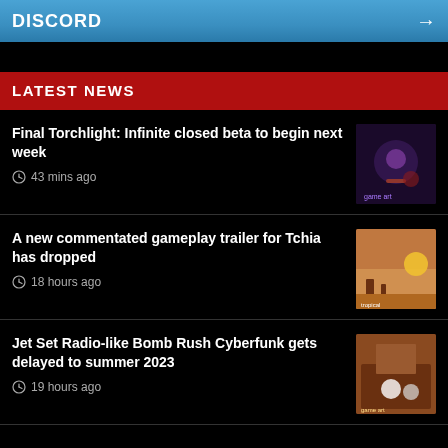DISCORD →
LATEST NEWS
Final Torchlight: Infinite closed beta to begin next week — 43 mins ago
A new commentated gameplay trailer for Tchia has dropped — 18 hours ago
Jet Set Radio-like Bomb Rush Cyberfunk gets delayed to summer 2023 — 19 hours ago